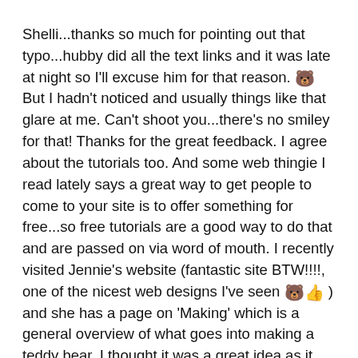Shelli...thanks so much for pointing out that typo...hubby did all the text links and it was late at night so I'll excuse him for that reason. 🐻 But I hadn't noticed and usually things like that glare at me. Can't shoot you...there's no smiley for that! Thanks for the great feedback. I agree about the tutorials too. And some web thingie I read lately says a great way to get people to come to your site is to offer something for free...so free tutorials are a good way to do that and are passed on via word of mouth. I recently visited Jennie's website (fantastic site BTW!!!!, one of the nicest web designs I've seen 🐻👍 ) and she has a page on 'Making' which is a general overview of what goes into making a teddy bear. I thought it was a great idea as it must be of interest to collectors to know a bit about the 'mysterious' process of creating an artist bear. I may even steal that idea from you Jennie if she doesn't mind! 🐻